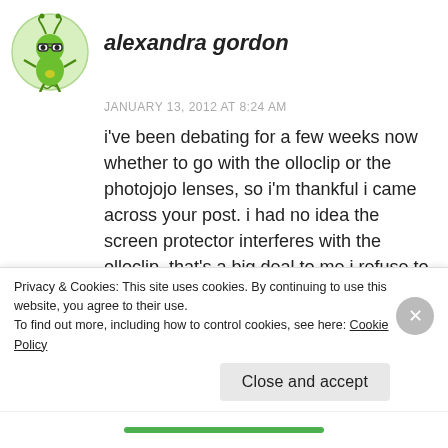alexandra gordon
JANUARY 13, 2012 AT 8:24 AM
i've been debating for a few weeks now whether to go with the olloclip or the photojojo lenses, so i'm thankful i came across your post. i had no idea the screen protector interferes with the olloclip, that's a big deal to me i refuse to be without it. i had read in a review that the photojojo magnetic ring interferes with your phone signal...have you noticed any problems?
Privacy & Cookies: This site uses cookies. By continuing to use this website, you agree to their use.
To find out more, including how to control cookies, see here: Cookie Policy
Close and accept